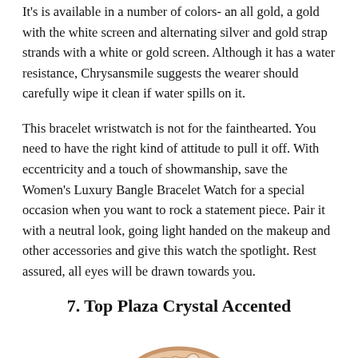It's is available in a number of colors- an all gold, a gold with the white screen and alternating silver and gold strap strands with a white or gold screen. Although it has a water resistance, Chrysansmile suggests the wearer should carefully wipe it clean if water spills on it.
This bracelet wristwatch is not for the fainthearted. You need to have the right kind of attitude to pull it off. With eccentricity and a touch of showmanship, save the Women's Luxury Bangle Bracelet Watch for a special occasion when you want to rock a statement piece. Pair it with a neutral look, going light handed on the makeup and other accessories and give this watch the spotlight. Rest assured, all eyes will be drawn towards you.
7. Top Plaza Crystal Accented
[Figure (photo): A rose gold crystal accented bangle bracelet watch with flower design and gemstone detail, photographed on white background.]